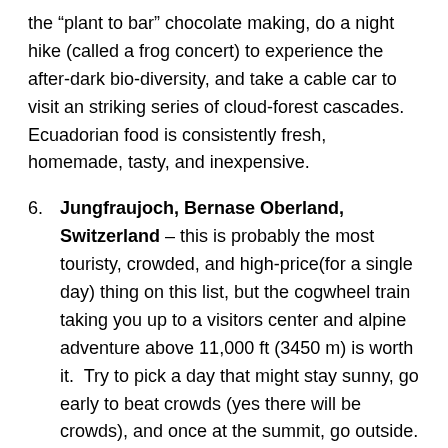the “plant to bar” chocolate making, do a night hike (called a frog concert) to experience the after-dark bio-diversity, and take a cable car to visit an striking series of cloud-forest cascades.   Ecuadorian food is consistently fresh, homemade, tasty, and inexpensive.
6. Jungfraujoch, Bernase Oberland, Switzerland – this is probably the most touristy, crowded, and high-price(for a single day) thing on this list, but the cogwheel train taking you up to a visitors center and alpine adventure above 11,000 ft (3450 m) is worth it.  Try to pick a day that might stay sunny, go early to beat crowds (yes there will be crowds), and once at the summit, go outside.
7. Okavango Delta, Botswana – an amazing wildlife